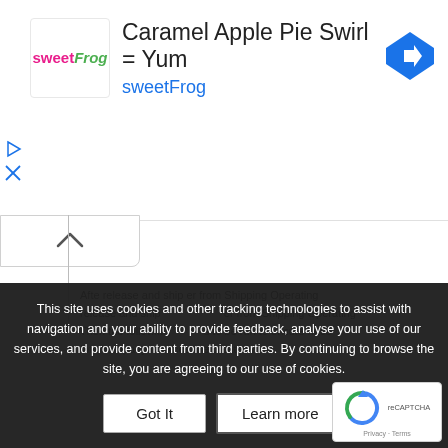[Figure (screenshot): Advertisement banner for sweetFrog frozen yogurt. Shows sweetFrog logo on left, title 'Caramel Apple Pie Swirl = Yum', brand name 'sweetFrog' in blue, and Google Maps direction icon on right. Play and close/X controls on far left.]
[Figure (screenshot): Collapse/expand panel with upward chevron arrow (^), and a vertical line below it indicating sidebar or panel border.]
After release and ship Then the following Intercompany Invoices are created
This site uses cookies and other tracking technologies to assist with navigation and your ability to provide feedback, analyse your use of our services, and provide content from third parties. By continuing to browse the site, you are agreeing to our use of cookies.
Got It
Learn more